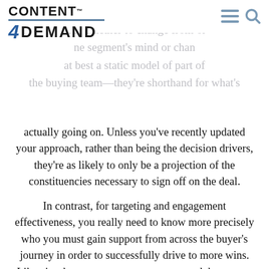CONTENT4DEMAND
actually going on. Unless you've recently updated your approach, rather than being the decision drivers, they're as likely to only be a projection of the constituencies necessary to sign off on the deal.
In contrast, for targeting and engagement effectiveness, you really need to know more precisely who you must gain support from across the buyer's journey in order to successfully drive to more wins. Likewise, key account messages are good, but newer data sources get you to the nuances that will make a difference at the person level—nuances that can make the difference inside very specific functions